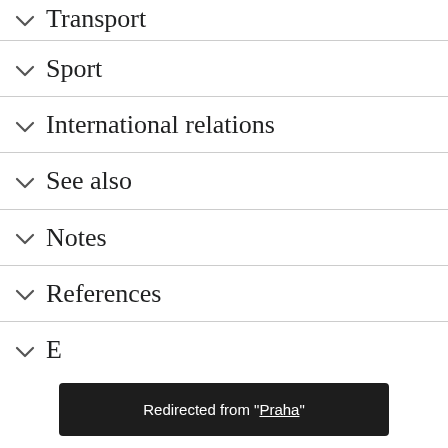Transport
Sport
International relations
See also
Notes
References
E
Redirected from "Praha"